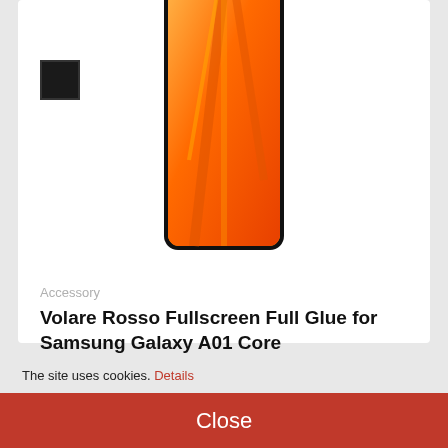[Figure (photo): Smartphone (Samsung Galaxy A01 Core) with orange gradient wallpaper shown from front, cropped at top, with a black color swatch thumbnail in upper left]
Accessory
Volare Rosso Fullscreen Full Glue for Samsung Galaxy A01 Core
1,00 руб.
Get the deal
The site uses cookies. Details
Close